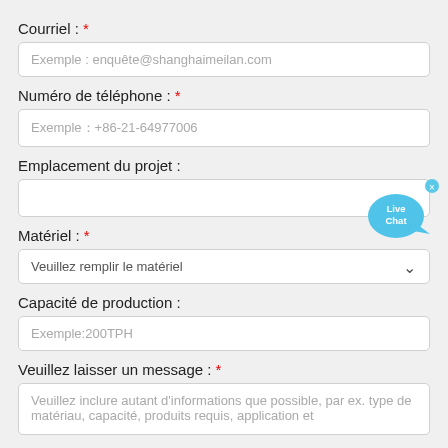Courriel : *
Exemple : enquête@shanghaimeilan.com
Numéro de téléphone : *
Exemple：+86-21-64977006
Emplacement du projet :
[Figure (illustration): Live Chat speech bubble icon with 'Live Chat' text in blue]
Matériel : *
Veuillez remplir le matériel
Capacité de production :
Exemple:200TPH
Veuillez laisser un message : *
Veuillez inclure autant d'informations que possible, par ex. type de matériau, capacité, produits requis, application et